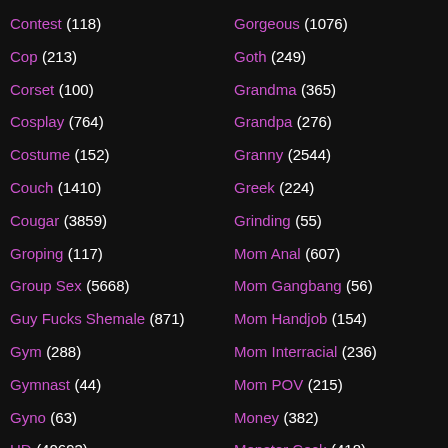Contest (118)
Cop (213)
Corset (100)
Cosplay (764)
Costume (152)
Couch (1410)
Cougar (3859)
Groping (117)
Group Sex (5668)
Guy Fucks Shemale (871)
Gym (288)
Gymnast (44)
Gyno (63)
HD (40693)
Hair Pulling (34)
Gorgeous (1076)
Goth (249)
Grandma (365)
Grandpa (276)
Granny (2544)
Greek (224)
Grinding (55)
Mom Anal (607)
Mom Gangbang (56)
Mom Handjob (154)
Mom Interracial (236)
Mom POV (215)
Money (382)
Monster Cock (418)
Monster Tits (203)